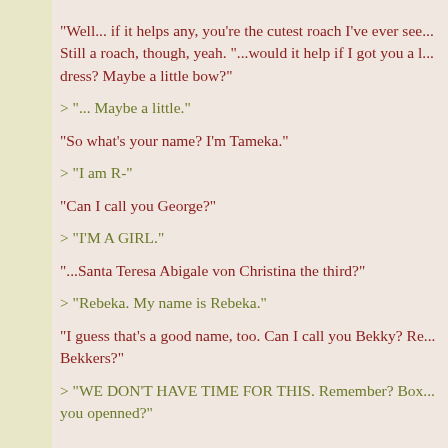"Well... if it helps any, you're the cutest roach I've ever see... Still a roach, though, yeah. "...would it help if I got you a l... dress? Maybe a little bow?"
> "... Maybe a little."
"So what's your name? I'm Tameka."
> "I am R-"
"Can I call you George?"
> "I'M A GIRL."
"...Santa Teresa Abigale von Christina the third?"
> "Rebeka. My name is Rebeka."
"I guess that's a good name, too. Can I call you Bekky? Re... Bekkers?"
> "WE DON'T HAVE TIME FOR THIS. Remember? Box... you openned?"